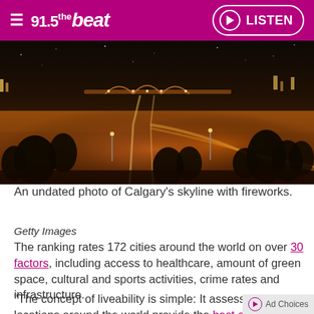91.5 the beat — LISTEN
[Figure (photo): Night aerial photo of Calgary cityscape showing a bridge, roads with light trails, trees and warm orange/amber city lights]
An undated photo of Calgary's skyline with fireworks.
Getty Images
The ranking rates 172 cities around the world on over 30 factors, including access to healthcare, amount of green space, cultural and sports activities, crime rates and infrastructure.
"The concept of liveability is simple: It assesses which locations around the world provide the best or the worst living conditions," the Economist report states. A score of 1 is "intolerable," a